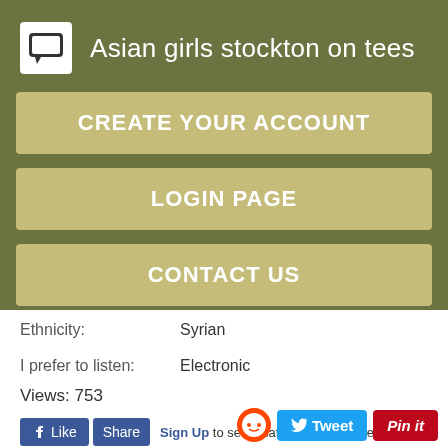Asian girls stockton on tees
CREATE YOUR ACCOUNT
LOGIN PAGE
CONTACT US
Ethnicity: Syrian
I prefer to listen: Electronic
Views: 753
Sign Up to see what your friends like.